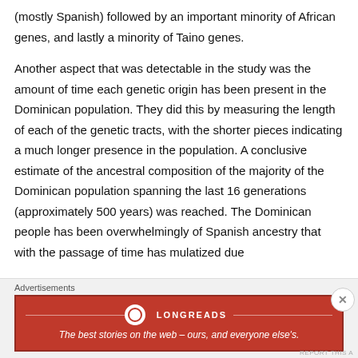(mostly Spanish) followed by an important minority of African genes, and lastly a minority of Taino genes.
Another aspect that was detectable in the study was the amount of time each genetic origin has been present in the Dominican population. They did this by measuring the length of each of the genetic tracts, with the shorter pieces indicating a much longer presence in the population. A conclusive estimate of the ancestral composition of the majority of the Dominican population spanning the last 16 generations (approximately 500 years) was reached. The Dominican people has been overwhelmingly of Spanish ancestry that with the passage of time has mulatized due to…
Advertisements
[Figure (other): Longreads advertisement banner: red background with Longreads logo and tagline 'The best stories on the web — ours, and everyone else's.']